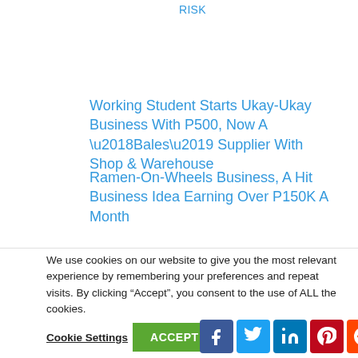RISK
Working Student Starts Ukay-Ukay Business With P500, Now A ‘Bales’ Supplier With Shop & Warehouse
Ramen-On-Wheels Business, A Hit Business Idea Earning Over P150K A Month
We use cookies on our website to give you the most relevant experience by remembering your preferences and repeat visits. By clicking “Accept”, you consent to the use of ALL the cookies.
Cookie Settings | ACCEPT